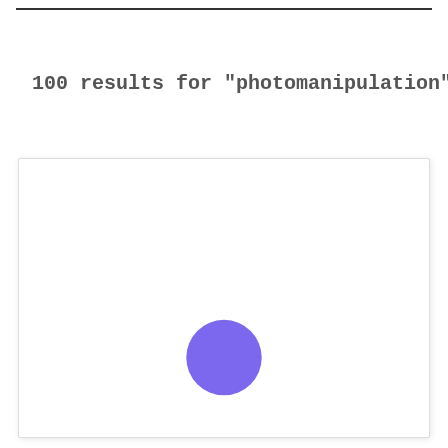100 results for "photomanipulation"
[Figure (screenshot): A white card/panel with a purple circle (loading spinner or placeholder dot) centered near the lower-middle portion of the card, indicating a loading state for search results.]